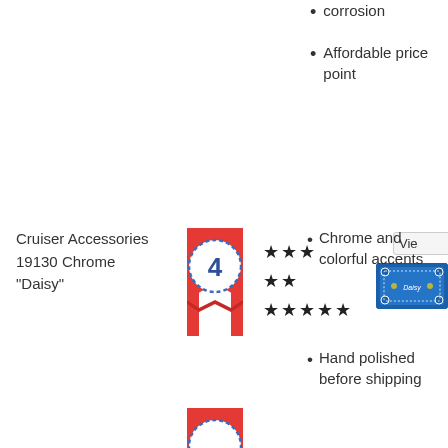corrosion
Affordable price point
Cruiser Accessories 19130 Chrome "Daisy"
[Figure (other): Rank badge showing number 4 with red ribbon]
[Figure (other): Star ratings: 3 stars, 2 stars, 5 stars]
[Figure (photo): Product image of Chrome Daisy license plate frame]
Chrome and colorful accents
Hand polished before shipping
Will break even with small bumps
[Figure (other): Partial rank badge at bottom of page]